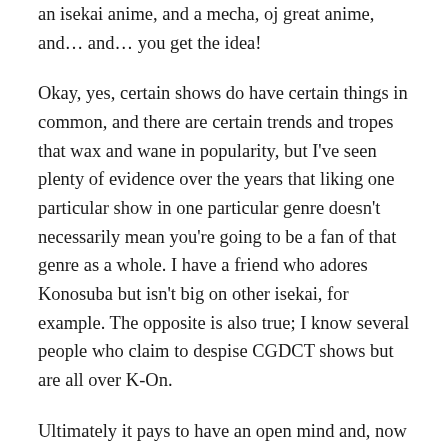an isekai anime, and a mecha, oj great anime, and… and… you get the idea!
Okay, yes, certain shows do have certain things in common, and there are certain trends and tropes that wax and wane in popularity, but I've seen plenty of evidence over the years that liking one particular show in one particular genre doesn't necessarily mean you're going to be a fan of that genre as a whole. I have a friend who adores Konosuba but isn't big on other isekai, for example. The opposite is also true; I know several people who claim to despise CGDCT shows but are all over K-On.
Ultimately it pays to have an open mind and, now and again, try things that you're less